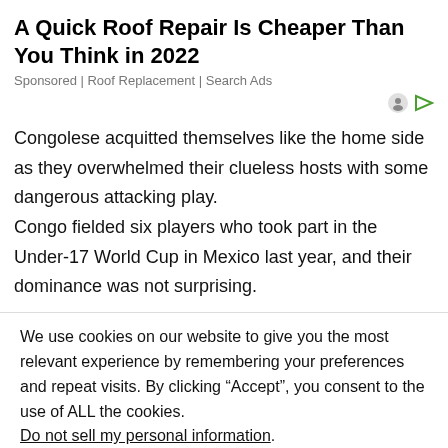A Quick Roof Repair Is Cheaper Than You Think in 2022
Sponsored | Roof Replacement | Search Ads
Congolese acquitted themselves like the home side as they overwhelmed their clueless hosts with some dangerous attacking play.
Congo fielded six players who took part in the Under-17 World Cup in Mexico last year, and their dominance was not surprising.
We use cookies on our website to give you the most relevant experience by remembering your preferences and repeat visits. By clicking “Accept”, you consent to the use of ALL the cookies.
Do not sell my personal information.
Cookie settings   ACCEPT